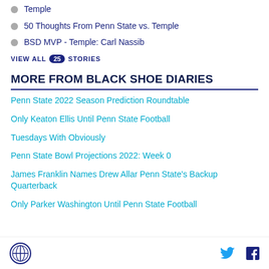Temple
50 Thoughts From Penn State vs. Temple
BSD MVP - Temple: Carl Nassib
VIEW ALL 25 STORIES
MORE FROM BLACK SHOE DIARIES
Penn State 2022 Season Prediction Roundtable
Only Keaton Ellis Until Penn State Football
Tuesdays With Obviously
Penn State Bowl Projections 2022: Week 0
James Franklin Names Drew Allar Penn State's Backup Quarterback
Only Parker Washington Until Penn State Football
Logo | Twitter | Facebook